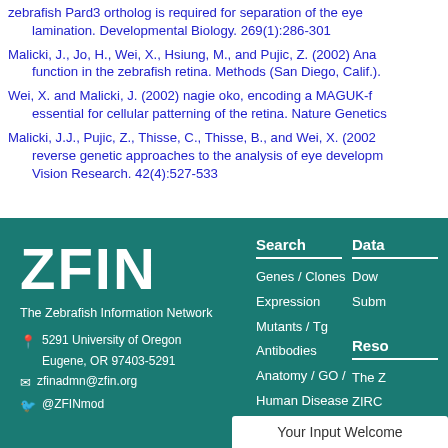zebrafish Pard3 ortholog is required for separation of the eye lamination. Developmental Biology. 269(1):286-301
Malicki, J., Jo, H., Wei, X., Hsiung, M., and Pujic, Z. (2002) Ana... function in the zebrafish retina. Methods (San Diego, Calif.).
Wei, X. and Malicki, J. (2002) nagie oko, encoding a MAGUK-f... essential for cellular patterning of the retina. Nature Genetics
Malicki, J.J., Pujic, Z., Thisse, C., Thisse, B., and Wei, X. (2002... reverse genetic approaches to the analysis of eye developm... Vision Research. 42(4):527-533
ZFIN - The Zebrafish Information Network. 5291 University of Oregon, Eugene, OR 97403-5291. zfinadmn@zfin.org. @ZFINmod. Search: Genes/Clones, Expression, Mutants/Tg, Antibodies, Anatomy/GO/Human Disease, Publications. Data, Resources. Your Input Welcome.